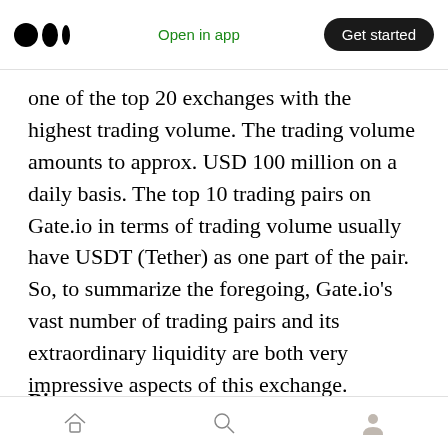Medium app header — Open in app | Get started
one of the top 20 exchanges with the highest trading volume. The trading volume amounts to approx. USD 100 million on a daily basis. The top 10 trading pairs on Gate.io in terms of trading volume usually have USDT (Tether) as one part of the pair. So, to summarize the foregoing, Gate.io's vast number of trading pairs and its extraordinary liquidity are both very impressive aspects of this exchange.
Sign Up on Gate.io
Binance
Home | Search | Profile